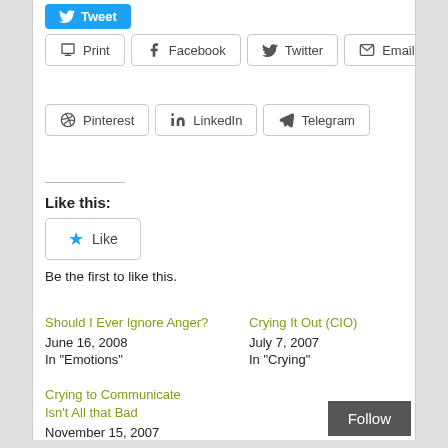[Figure (screenshot): Tweet button (blue)]
Print
Facebook
Twitter
Email
Pinterest
LinkedIn
Telegram
Like this:
Like
Be the first to like this.
Should I Ever Ignore Anger?
June 16, 2008
In "Emotions"
Crying It Out (CIO)
July 7, 2007
In "Crying"
Crying to Communicate Isn't All that Bad
November 15, 2007
In "Crying"
Follow